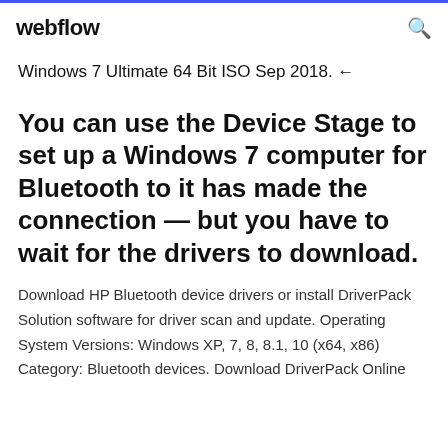webflow
Windows 7 Ultimate 64 Bit ISO Sep 2018. ←
You can use the Device Stage to set up a Windows 7 computer for Bluetooth to it has made the connection — but you have to wait for the drivers to download.
Download HP Bluetooth device drivers or install DriverPack Solution software for driver scan and update. Operating System Versions: Windows XP, 7, 8, 8.1, 10 (x64, x86) Category: Bluetooth devices. Download DriverPack Online